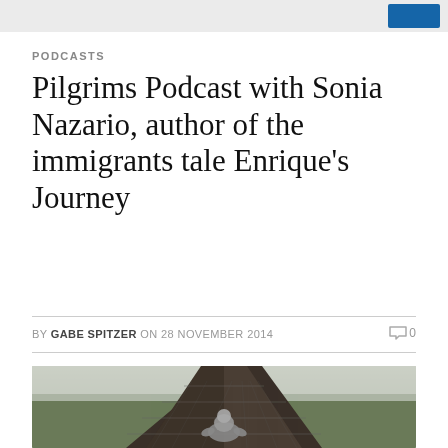PODCASTS
Pilgrims Podcast with Sonia Nazario, author of the immigrants tale Enrique's Journey
BY GABE SPITZER ON 28 NOVEMBER 2014   0
[Figure (photo): Person sitting on top of a freight train, viewed from behind, with green fields on either side and fog in the distance.]